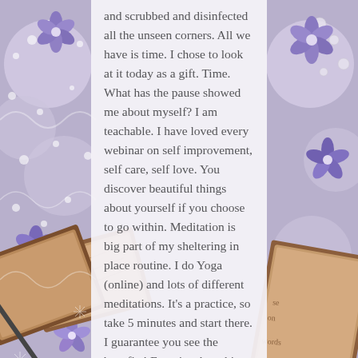[Figure (illustration): Decorative background with purple/lavender flowers, lace, pearls, and journals/notebooks with a pen on a grey-purple surface.]
and scrubbed and disinfected all the unseen corners. All we have is time. I chose to look at it today as a gift. Time. What has the pause showed me about myself? I am teachable. I have loved every webinar on self improvement, self care, self love. You discover beautiful things about yourself if you choose to go within. Meditation is big part of my sheltering in place routine. I do Yoga (online) and lots of different meditations. It's a practice, so take 5 minutes and start there. I guarantee you see the benefits! Even just breathing for 5 minutes. Amazing, organic self love. Please try it! I recommend The mindful movement